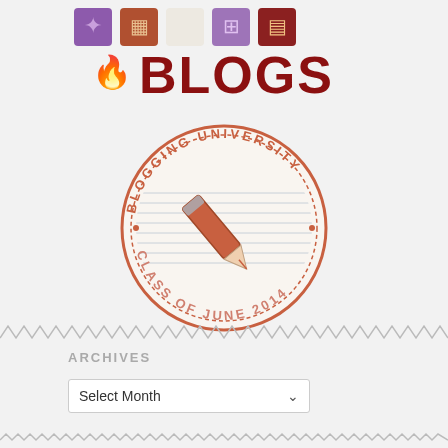[Figure (logo): Blog logo with colorful icons and the word BLOGS in red bold text with a flame icon]
[Figure (illustration): Circular stamp reading BLOGGING UNIVERSITY CLASS OF JUNE 2014 with a pencil icon in orange/red color, on lined paper background]
ARCHIVES
Select Month